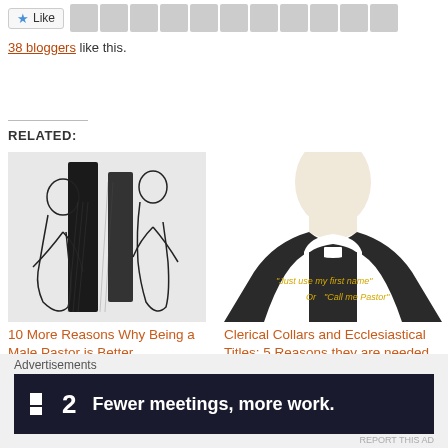[Figure (other): Like button with star icon followed by a strip of blogger avatar photos]
38 bloggers like this.
RELATED:
[Figure (illustration): Black and white sketch illustration of people standing]
10 More Reasons Why Being a Male Pastor is Better
November 18, 2013
In "Theology & Culture"
[Figure (illustration): Illustration of clerical collar with text 'Just use my first name' Or 'Call me Pastor']
Clerical Collars and Ecclesiastical Titles: 5 Reasons they are needed in the Church
March 30, 2017
In "Theology & Culture"
[Figure (photo): Partial view of a third related article thumbnail at bottom]
Advertisements
[Figure (other): Advertisement banner: P2 logo with text 'Fewer meetings, more work.']